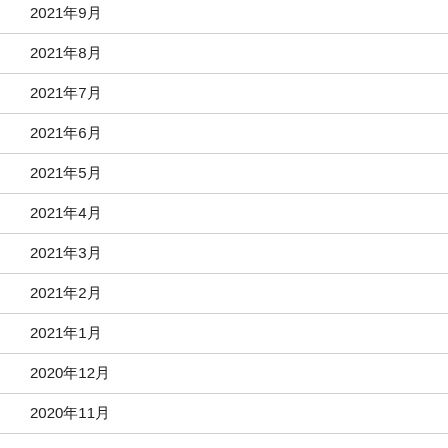2021年9月
2021年8月
2021年7月
2021年6月
2021年5月
2021年4月
2021年3月
2021年2月
2021年1月
2020年12月
2020年11月